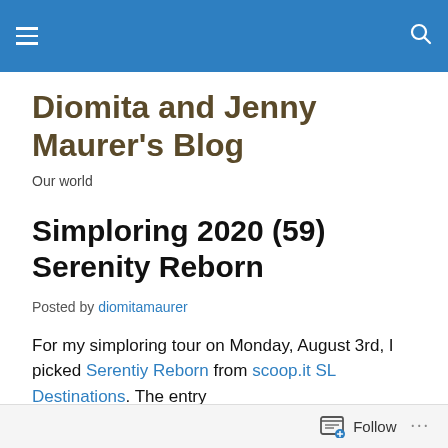[Navigation bar with hamburger menu and search icon]
Diomita and Jenny Maurer’s Blog
Our world
Simploring 2020 (59) Serenity Reborn
Posted by diomitamaurer
For my simploring tour on Monday, August 3rd, I picked Serentiy Reborn from scoop.it SL Destinations. The entry
Follow …